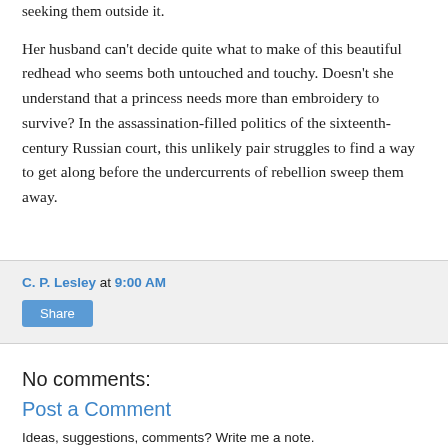seeking them outside it.
Her husband can't decide quite what to make of this beautiful redhead who seems both untouched and touchy. Doesn't she understand that a princess needs more than embroidery to survive? In the assassination-filled politics of the sixteenth-century Russian court, this unlikely pair struggles to find a way to get along before the undercurrents of rebellion sweep them away.
C. P. Lesley at 9:00 AM
Share
No comments:
Post a Comment
Ideas, suggestions, comments? Write me a note.
(Spam comments containing links will be deleted.)